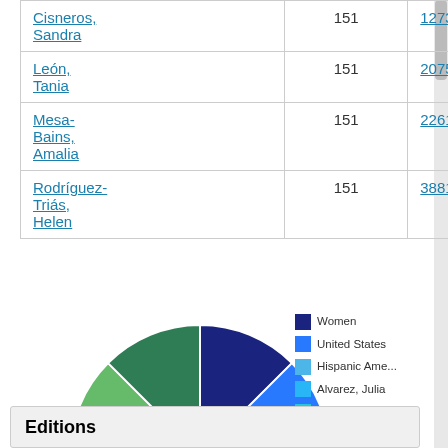| Name | ID | Link |
| --- | --- | --- |
| Cisneros, Sandra | 151 | 127388 |
| León, Tania | 151 | 207528 |
| Mesa-Bains, Amalia | 151 | 226169 |
| Rodríguez-Triás, Helen | 151 | 388152 |
[Figure (pie-chart): Distribution]
Editions